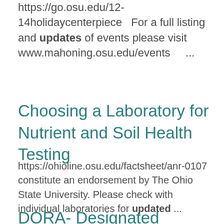https://go.osu.edu/12-14holidaycenterpiece   For a full listing and updates of events please visit www.mahoning.osu.edu/events    ...
Choosing a Laboratory for Nutrient and Soil Health Testing
https://ohioline.osu.edu/factsheet/anr-0107 constitute an endorsement by The Ohio State University. Please check with individual laboratories for updated ...
DORA- Designated Outdoor Refreshment Areas